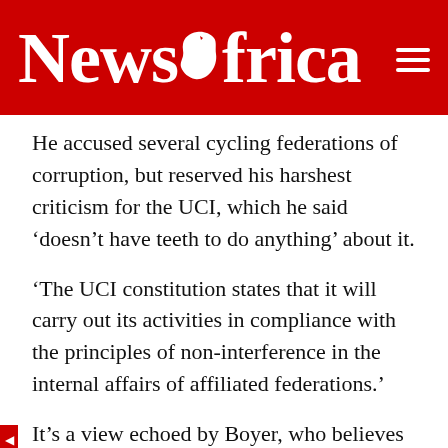NewsAfrica
He accused several cycling federations of corruption, but reserved his harshest criticism for the UCI, which he said ‘doesn’t have teeth to do anything’ about it.
‘The UCI constitution states that it will carry out its activities in compliance with the principles of non-interference in the internal affairs of affiliated federations.’
It’s a view echoed by Boyer, who believes corruption is a huge problem for African cycling.
‘Cycling is growing in Africa. There are more and